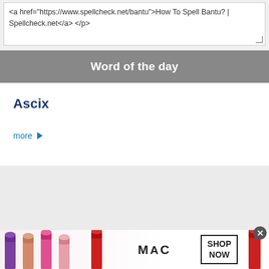<a href="https://www.spellcheck.net/bantu">How To Spell Bantu? | Spellcheck.net</a> </p>
Word of the day
Ascix
more ▶
[Figure (photo): MAC cosmetics advertisement showing lipsticks in purple, pink, coral, and red shades with MAC logo and SHOP NOW button]